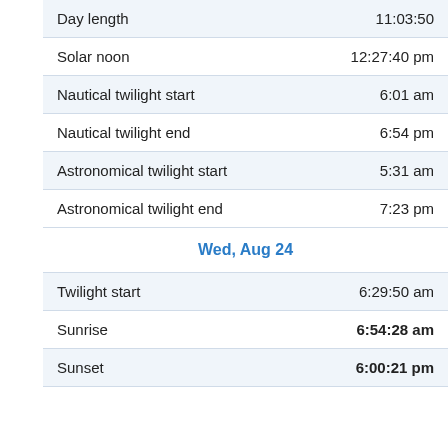|  |  |
| --- | --- |
| Day length | 11:03:50 |
| Solar noon | 12:27:40 pm |
| Nautical twilight start | 6:01 am |
| Nautical twilight end | 6:54 pm |
| Astronomical twilight start | 5:31 am |
| Astronomical twilight end | 7:23 pm |
| Wed, Aug 24 |  |
| Twilight start | 6:29:50 am |
| Sunrise | 6:54:28 am |
| Sunset | 6:00:21 pm |